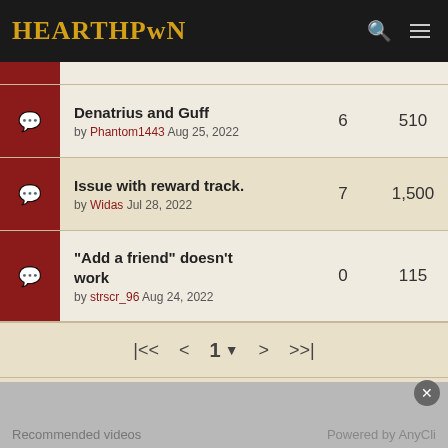[Figure (logo): HearthPwn logo in gold/yellow on dark background]
Denatrius and Guff by Phantom1443 Aug 25, 2022 | replies: 6 | views: 510
Issue with reward track. by Widas Jul 28, 2022 | replies: 7 | views: 1,500
"Add a friend" doesn't work by strscr_96 Aug 24, 2022 | replies: 0 | views: 115
|<< < 1 > >>|
Forum Jump:
- General Discussion
HearthPwn Forums -- Hearthstone General
Recommended videos
Powered by AnyClip